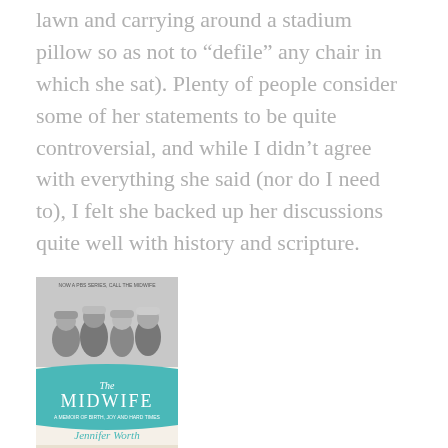lawn and carrying around a stadium pillow so as not to “defile” any chair in which she sat). Plenty of people consider some of her statements to be quite controversial, and while I didn’t agree with everything she said (nor do I need to), I felt she backed up her discussions quite well with history and scripture.
[Figure (illustration): Book cover of 'The Midwife: A Memoir of Birth, Joy, and Hard Times' by Jennifer Worth. Cover shows a black and white photo of children at the top, a teal/turquoise banner in the middle with the title 'The Midwife' and subtitle, author name 'Jennifer Worth' in teal script, and a black and white image at the bottom. Penguin Books logo at bottom right.]
Call the Midwife: A Memoir of Birth, Joy, and Hard Times
> Whew! After some pretty challenging